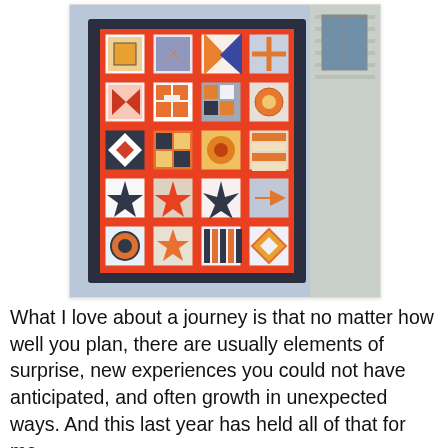[Figure (photo): A colorful patchwork quilt displayed outdoors, featuring a grid of square blocks with orange/red sashing, in orange, blue/grey, and white patterns including stars and geometric shapes. Background shows the side of a house.]
What I love about a journey is that no matter how well you plan, there are usually elements of surprise, new experiences you could not have anticipated, and often growth in unexpected ways. And this last year has held all of that for me.
[Figure (photo): Close-up of a decorative coin purse with a metal clasp frame at the top, featuring beaded or embroidered patterns in orange, white, and green on a light background.]